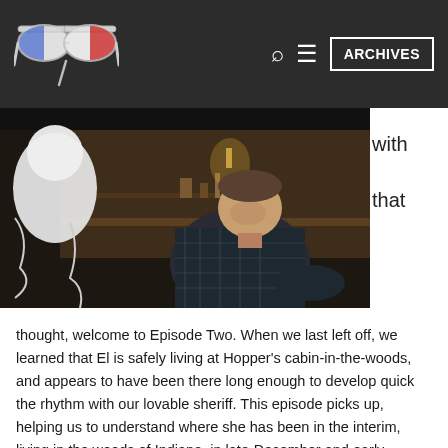ARCHIVES
[Figure (photo): A man in a plaid flannel shirt sitting in a rustic cabin or diner, looking up; a white sheet or ghost-like figure on the left. Dark, moody interior scene.]
with

that
thought, welcome to Episode Two. When we last left off, we learned that El is safely living at Hopper's cabin-in-the-woods, and appears to have been there long enough to develop quick the rhythm with our lovable sheriff. This episode picks up, helping us to understand where she has been in the interim, living in the woods of Indiana, in late-December and early-January. (But she has super powers, so I'm sure it wasn't too cold.)